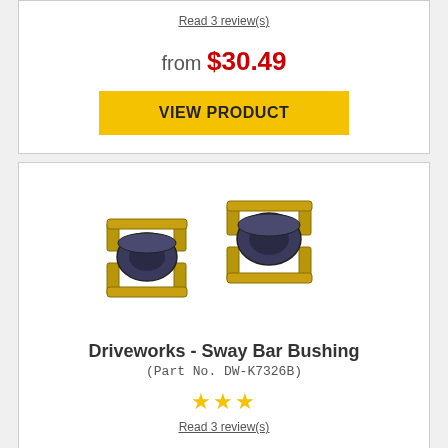Read 3 review(s)
from $30.49
VIEW PRODUCT
[Figure (photo): Two Driveworks sway bar bushings with gold metal brackets and dark blue rubber bushings]
Driveworks - Sway Bar Bushing
(Part No. DW-K7326B)
[Figure (other): 3 yellow star rating icons]
Read 3 review(s)
from $17.49